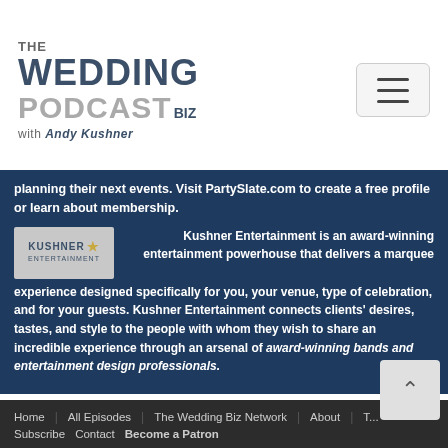[Figure (logo): The Wedding Podcast Biz with Andy Kushner logo]
planning their next events. Visit PartySlate.com to create a free profile or learn about membership.
[Figure (logo): Kushner Entertainment logo]
Kushner Entertainment is an award-winning entertainment powerhouse that delivers a marquee experience designed specifically for you, your venue, type of celebration, and for your guests. Kushner Entertainment connects clients' desires, tastes, and style to the people with whom they wish to share an incredible experience through an arsenal of award-winning bands and entertainment design professionals.
Home | All Episodes | The Wedding Biz Network | About | T... Subscribe | Contact | Become a Patron